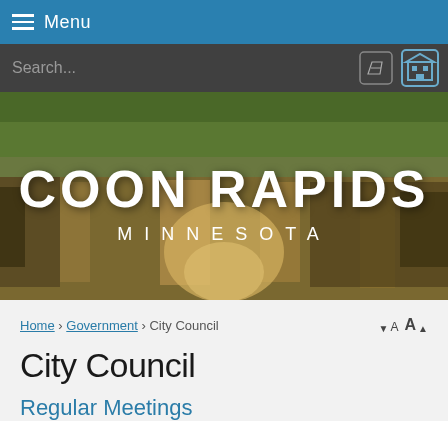Menu
[Figure (screenshot): Coon Rapids Minnesota city website header with navigation bar, search bar, and hero banner image showing a river/lake scene with the text COON RAPIDS MINNESOTA overlaid in white]
Home › Government › City Council
City Council
Regular Meetings